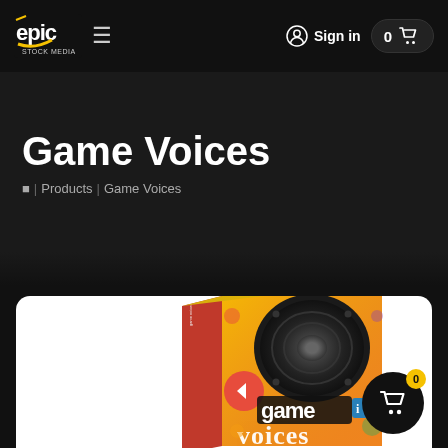Epic Stock Media — Sign in | 0 cart items
Game Voices
🏠 | Products | Game Voices
[Figure (photo): Product box for 'Game Voices' by Epic Stock Media, showing a colorful orange and yellow box with a large speaker on the front and the text 'game voices' in bold stylized lettering.]